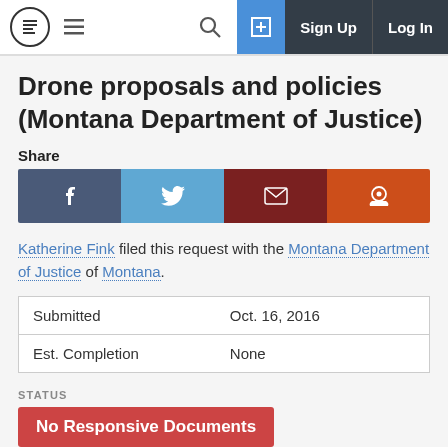Navigation bar with logo, menu, search, Sign Up, Log In
Drone proposals and policies (Montana Department of Justice)
Share
[Figure (infographic): Share buttons: Facebook, Twitter, Email, Reddit]
Katherine Fink filed this request with the Montana Department of Justice of Montana.
| Field | Value |
| --- | --- |
| Submitted | Oct. 16, 2016 |
| Est. Completion | None |
STATUS
No Responsive Documents